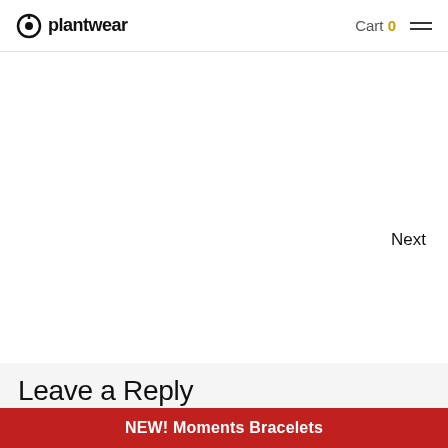plantwear  Cart 0
Next
Leave a Reply
Your email address will not be published. Required fields are marked *
NEW! Moments Bracelets